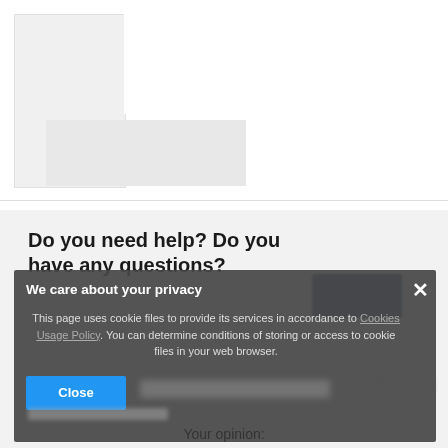[Figure (screenshot): Top section of a webpage showing white background with placeholder/blurred content areas including a left sidebar-like rectangle and image areas.]
Do you need help? Do you have any questions?
[Figure (screenshot): Cookie consent overlay popup with dark semi-transparent background. Title: 'We care about your privacy'. Text: 'This page uses cookie files to provide its services in accordance to Cookies Usage Policy. You can determine conditions of storing or access to cookie files in your web browser.' Blue 'Close' button at bottom left. X close button at top right.]
Your opinion: